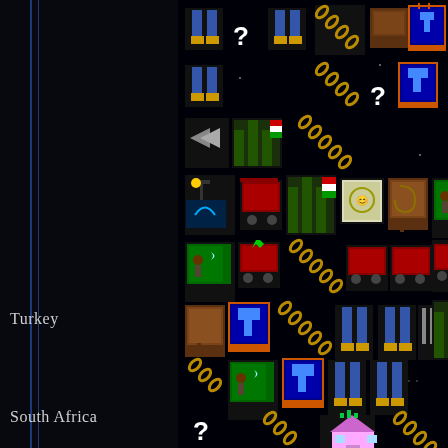[Figure (screenshot): Video game screenshot showing a strategy/educational game with pixel art icons representing various game elements including characters, buildings, chains, and question marks on a black background. Left panel is dark with blue vertical lines. Right panel shows game grid rows with icons for two country entries: Turkey and South Africa.]
Turkey
South Africa